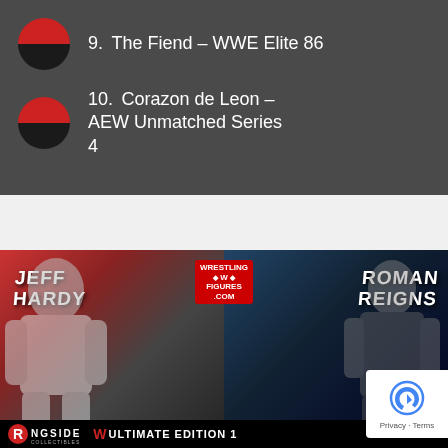9. The Fiend – WWE Elite 86
10. Corazon de Leon – AEW Unmatched Series 4
[Figure (photo): Wrestling figures advertisement image showing Jeff Hardy and Roman Reigns with WrestlingFigures.com logo and Ringside Collectibles branding. Text reads WWE ULTIMATE EDITION at bottom.]